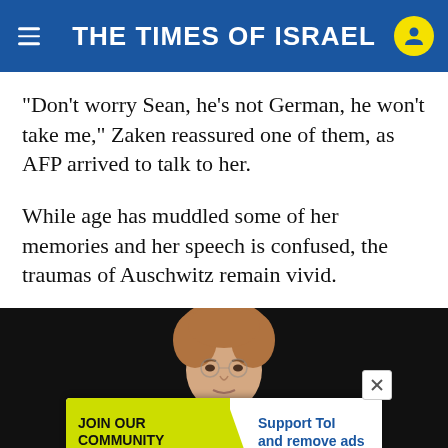THE TIMES OF ISRAEL
“Don’t worry Sean, he’s not German, he won’t take me,” Zaken reassured one of them, as AFP arrived to talk to her.
While age has muddled some of her memories and her speech is confused, the traumas of Auschwitz remain vivid.
[Figure (photo): Elderly woman with short auburn hair against a dark background, photographed from the waist up.]
[Figure (infographic): Advertisement banner: JOIN OUR COMMUNITY | Support ToI and remove ads, with yellow arrow shape and X close button.]